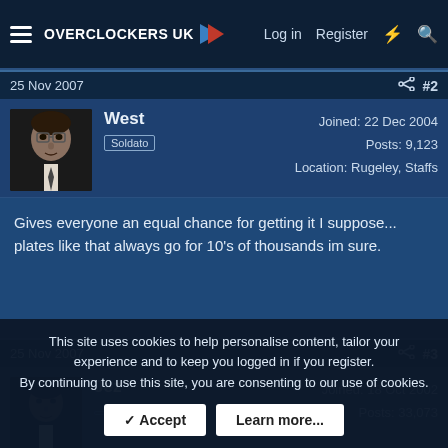Overclockers UK — Log in  Register
25 Nov 2007  #2
West
Soldato
Joined: 22 Dec 2004
Posts: 9,123
Location: Rugeley, Staffs
Gives everyone an equal chance for getting it I suppose... plates like that always go for 10's of thousands im sure.
25 Nov 2007  #3
Jez
Joined: 18 Oct 2002
Posts: 33,073
This site uses cookies to help personalise content, tailor your experience and to keep you logged in if you register.
By continuing to use this site, you are consenting to our use of cookies.